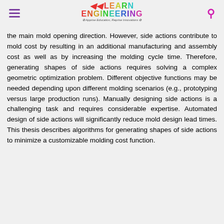Learn Engineering — Apprise Education, Reprise Innovations
the main mold opening direction. However, side actions contribute to mold cost by resulting in an additional manufacturing and assembly cost as well as by increasing the molding cycle time. Therefore, generating shapes of side actions requires solving a complex geometric optimization problem. Different objective functions may be needed depending upon different molding scenarios (e.g., prototyping versus large production runs). Manually designing side actions is a challenging task and requires considerable expertise. Automated design of side actions will significantly reduce mold design lead times. This thesis describes algorithms for generating shapes of side actions to minimize a customizable molding cost function.